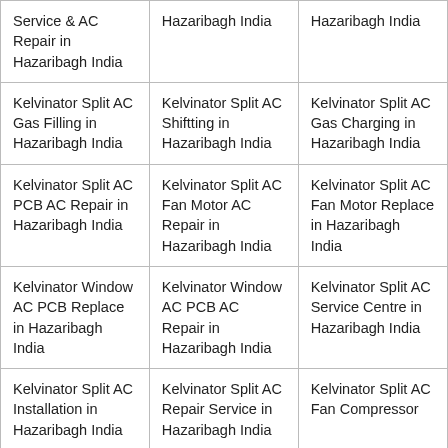| Service & AC Repair in Hazaribagh India | Hazaribagh India | Hazaribagh India |
| Kelvinator Split AC Gas Filling in Hazaribagh India | Kelvinator Split AC Shiftting in Hazaribagh India | Kelvinator Split AC Gas Charging in Hazaribagh India |
| Kelvinator Split AC PCB AC Repair in Hazaribagh India | Kelvinator Split AC Fan Motor AC Repair in Hazaribagh India | Kelvinator Split AC Fan Motor Replace in Hazaribagh India |
| Kelvinator Window AC PCB Replace in Hazaribagh India | Kelvinator Window AC PCB AC Repair in Hazaribagh India | Kelvinator Split AC Service Centre in Hazaribagh India |
| Kelvinator Split AC Installation in Hazaribagh India | Kelvinator Split AC Repair Service in Hazaribagh India | Kelvinator Split AC Fan Compressor |